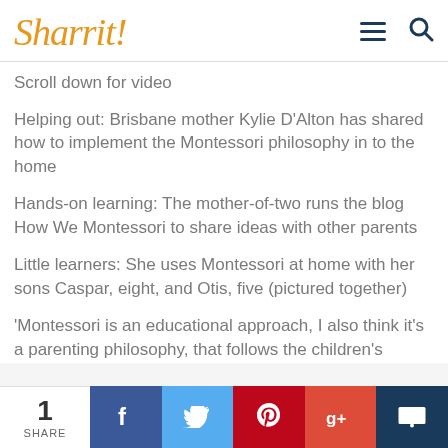Sharrit!
Scroll down for video
Helping out: Brisbane mother Kylie D'Alton has shared how to implement the Montessori philosophy in to the home
Hands-on learning: The mother-of-two runs the blog How We Montessori to share ideas with other parents
Little learners: She uses Montessori at home with her sons Caspar, eight, and Otis, five (pictured together)
'Montessori is an educational approach, I also think it's a parenting philosophy, that follows the children's
1 SHARE | f | Twitter | Pinterest | g+ | Comment